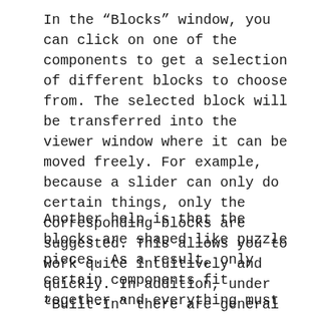In the “Blocks” window, you can click on one of the components to get a selection of different blocks to choose from. The selected block will be transferred into the viewer window where it can be moved freely. For example, because a slider can only do certain things, only the corresponding blocks are suggested. This allows you to work quite intuitively and quickly. In addition, under “Built-In” there are general blocks e.g. for text, if-then-else constructs and much more.
Another help is that the blocks are shaped like puzzle pieces. As a result, only certain components fit together and everything must be completed. This avoids syntax errors, but you have to pay attention to the logic errors